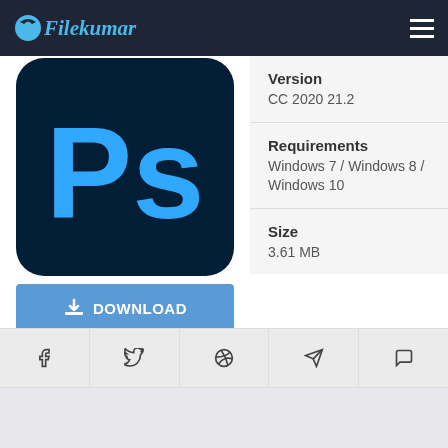Filekumar
[Figure (logo): Adobe Photoshop logo — dark navy background with rounded corners, large blue 'Ps' letters]
DOWNLOAD
★★★★★ 5.0/5
Votes: 1
ⓘ Report
| Field | Value |
| --- | --- |
| Version | CC 2020 21.2 |
| Requirements | Windows 7 / Windows 8 / Windows 10 |
| Size | 3.61 MB |
f  𝕏  ⊕  ✈  ◎